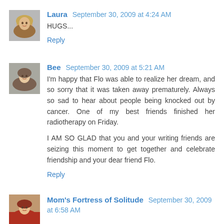[Figure (photo): Avatar photo of Laura - woman with blonde hair smiling]
Laura September 30, 2009 at 4:24 AM
HUGS...
Reply
[Figure (photo): Avatar photo of Bee - woman smiling]
Bee September 30, 2009 at 5:21 AM
I'm happy that Flo was able to realize her dream, and so sorry that it was taken away prematurely. Always so sad to hear about people being knocked out by cancer. One of my best friends finished her radiotherapy on Friday.
I AM SO GLAD that you and your writing friends are seizing this moment to get together and celebrate friendship and your dear friend Flo.
Reply
[Figure (photo): Avatar photo of Mom's Fortress of Solitude - woman with red top]
Mom's Fortress of Solitude September 30, 2009 at 6:58 AM